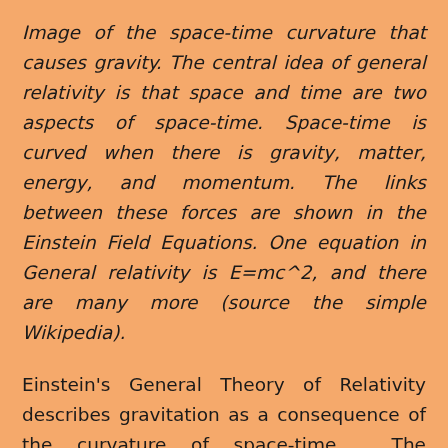Image of the space-time curvature that causes gravity. The central idea of general relativity is that space and time are two aspects of space-time. Space-time is curved when there is gravity, matter, energy, and momentum. The links between these forces are shown in the Einstein Field Equations. One equation in General relativity is E=mc^2, and there are many more (source the simple Wikipedia).
Einstein's General Theory of Relativity describes gravitation as a consequence of the curvature of space-time. The gravitational force that two